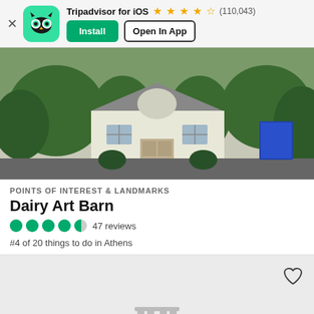[Figure (screenshot): Tripadvisor iOS app install banner with owl logo, star rating 4.5 stars, (110,043) reviews, Install and Open In App buttons]
[Figure (photo): Exterior photo of Dairy Art Barn building — white facade with green trees, center entrance with double doors]
POINTS OF INTEREST & LANDMARKS
Dairy Art Barn
47 reviews
#4 of 20 things to do in Athens
[Figure (illustration): Gray placeholder map area with a landmark/binoculars icon and a heart/save button in the upper right]